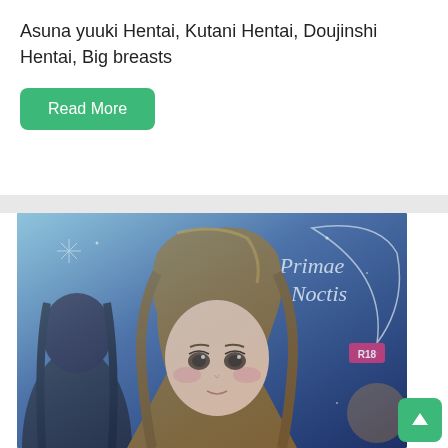Asuna yuuki Hentai, Kutani Hentai, Doujinshi Hentai, Big breasts
Read More
[Figure (illustration): Anime doujinshi book cover titled 'Primae Noctis' featuring two anime female characters with brown and black hair against a purple/blue starry background with an R18 badge]